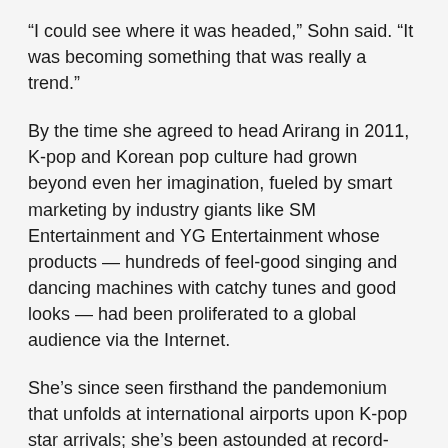“I could see where it was headed,” Sohn said. “It was becoming something that was really a trend.”
By the time she agreed to head Arirang in 2011, K-pop and Korean pop culture had grown beyond even her imagination, fueled by smart marketing by industry giants like SM Entertainment and YG Entertainment whose products — hundreds of feel-good singing and dancing machines with catchy tunes and good looks — had been proliferated to a global audience via the Internet.
She’s since seen firsthand the pandemonium that unfolds at international airports upon K-pop star arrivals; she’s been astounded at record-breaking Twitter participation numbers that once stemmed from inviting K-pop band EXO onto an Arirang program; and she’s now convinced that this trend is and will continue to be the driving force behind Korea’s rebranding as a country.